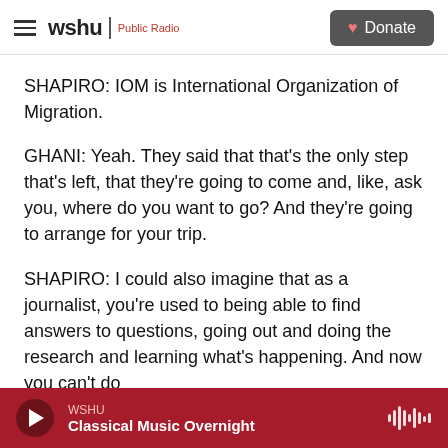wshu | Public Radio — Donate
SHAPIRO: IOM is International Organization of Migration.
GHANI: Yeah. They said that that's the only step that's left, that they're going to come and, like, ask you, where do you want to go? And they're going to arrange for your trip.
SHAPIRO: I could also imagine that as a journalist, you're used to being able to find answers to questions, going out and doing the research and learning what's happening. And now you can't do
WSHU — Classical Music Overnight